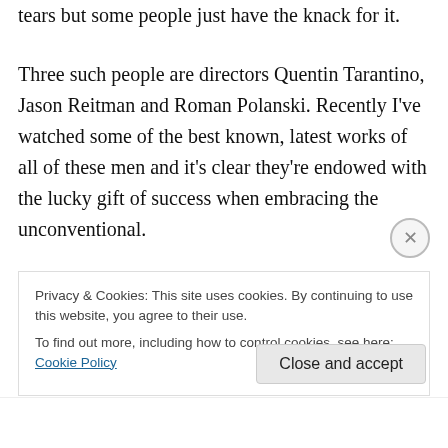tears but some people just have the knack for it.
Three such people are directors Quentin Tarantino, Jason Reitman and Roman Polanski. Recently I've watched some of the best known, latest works of all of these men and it's clear they're endowed with the lucky gift of success when embracing the unconventional.
Firstly Tarantino's Inglorious Basterds is such a fascinating, intriguing picture. Events within the plot and elements of the execution bear Tarantino's sensational touch – leading Nazis weren't slaughtered in reality in a
Privacy & Cookies: This site uses cookies. By continuing to use this website, you agree to their use.
To find out more, including how to control cookies, see here: Cookie Policy
Close and accept